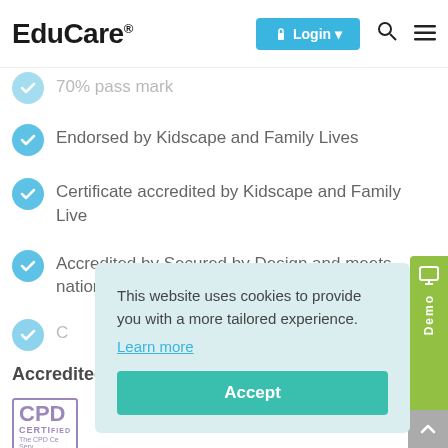EduCare
70% pass mark
Endorsed by Kidscape and Family Lives
Certificate accredited by Kidscape and Family Live
Accredited by Secured by Design and meets national Police approved standards
Accredited / endorsed by
This website uses cookies to provide you with a more tailored experience. Learn more
Accept